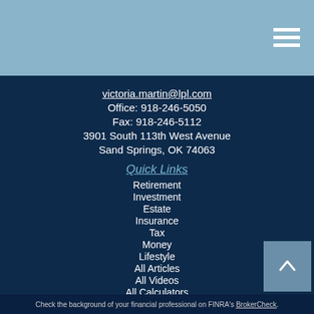[Figure (other): Navigation hamburger menu icon (three horizontal white lines) in top-right of light blue header bar]
victoria.martin@lpl.com
Office: 918-246-5050
Fax: 918-246-5112
3901 South 113th West Avenue
Sand Springs, OK 74063
Quick Links
Retirement
Investment
Estate
Insurance
Tax
Money
Lifestyle
All Articles
All Videos
All Calculators
All Presentations
Check the background of your financial professional on FINRA's BrokerCheck.